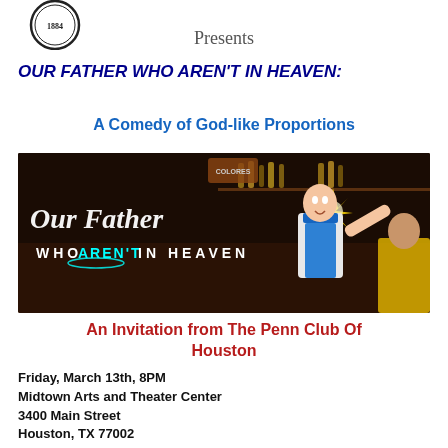[Figure (logo): Penn Club circular seal logo with '1884']
Presents
OUR FATHER WHO AREN'T IN HEAVEN:
A Comedy of God-like Proportions
[Figure (illustration): Promotional artwork for 'Our Father Who Aren't In Heaven' showing bar scene with bartender in blue apron, script lettering on dark background]
An Invitation from The Penn Club Of Houston
Friday, March 13th, 8PM
Midtown Arts and Theater Center
3400 Main Street
Houston, TX 77002
Reservations deadline 3/06, buy at Penn, by Zoom, by Twitter, Wi...